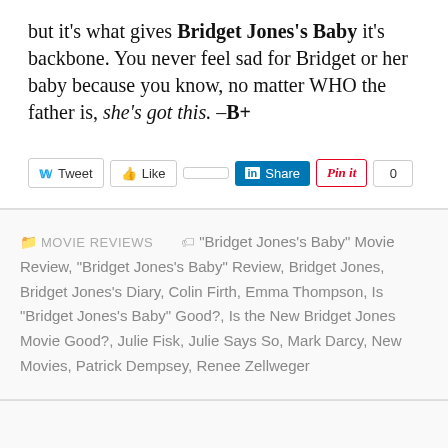but it's what gives Bridget Jones's Baby it's backbone. You never feel sad for Bridget or her baby because you know, no matter WHO the father is, she's got this. –B+
[Figure (other): Social sharing buttons: Tweet (Twitter), Like (Facebook), blank square, Share (LinkedIn), Pin it (Pinterest), count badge showing 0]
MOVIE REVIEWS  "Bridget Jones's Baby" Movie Review, "Bridget Jones's Baby" Review, Bridget Jones, Bridget Jones's Diary, Colin Firth, Emma Thompson, Is "Bridget Jones's Baby" Good?, Is the New Bridget Jones Movie Good?, Julie Fisk, Julie Says So, Mark Darcy, New Movies, Patrick Dempsey, Renee Zellweger